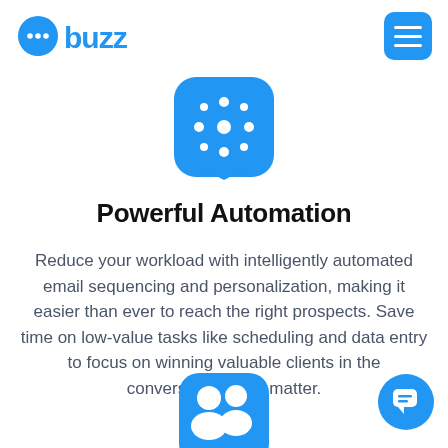[Figure (logo): Buzz logo — blue circle with dots icon and blue 'buzz' text wordmark]
[Figure (illustration): Blue rounded-square icon with circular dot pattern, representing automation/connectivity]
Powerful Automation
Reduce your workload with intelligently automated email sequencing and personalization, making it easier than ever to reach the right prospects. Save time on low-value tasks like scheduling and data entry to focus on winning valuable clients in the conversations that matter.
[Figure (illustration): Blue rounded-square icon with two person/user silhouettes, partially visible at bottom]
[Figure (illustration): Blue circular chat/support button with speech bubble icon, bottom-right corner]